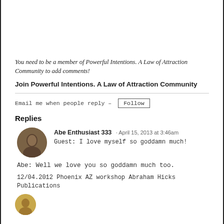You need to be a member of Powerful Intentions. A Law of Attraction Community to add comments!
Join Powerful Intentions. A Law of Attraction Community
Email me when people reply – Follow
Replies
Abe Enthusiast 333 · April 15, 2013 at 3:46am
Guest: I love myself so goddamn much!
Abe: Well we love you so goddamn much too.
12/04.2012 Phoenix AZ workshop Abraham Hicks Publications